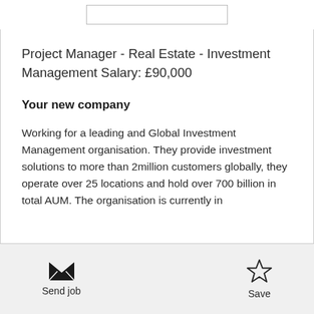Project Manager - Real Estate - Investment Management Salary: £90,000
Your new company
Working for a leading and Global Investment Management organisation. They provide investment solutions to more than 2million customers globally, they operate over 25 locations and hold over 700 billion in total AUM. The organisation is currently in